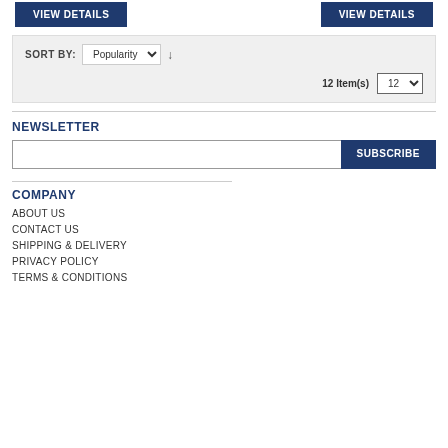[Figure (screenshot): Two VIEW DETAILS buttons side by side]
[Figure (screenshot): Sort bar with Popularity dropdown, grid/list icons, 12 Item(s) count, and items-per-page dropdown]
NEWSLETTER
[Figure (screenshot): Email input field with SUBSCRIBE button]
COMPANY
ABOUT US
CONTACT US
SHIPPING & DELIVERY
PRIVACY POLICY
TERMS & CONDITIONS